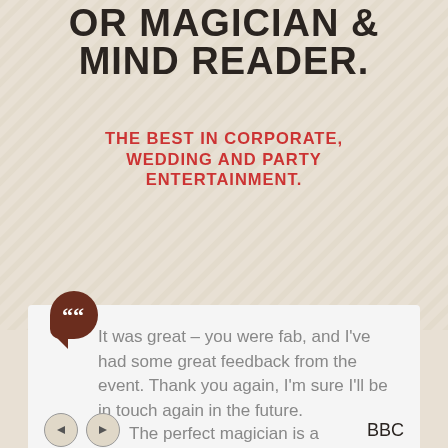OR MAGICIAN & MIND READER.
THE BEST IN CORPORATE, WEDDING AND PARTY ENTERTAINMENT.
It was great – you were fab, and I've had some great feedback from the event. Thank you again, I'm sure I'll be in touch again in the future.
BBC
The perfect magician is a